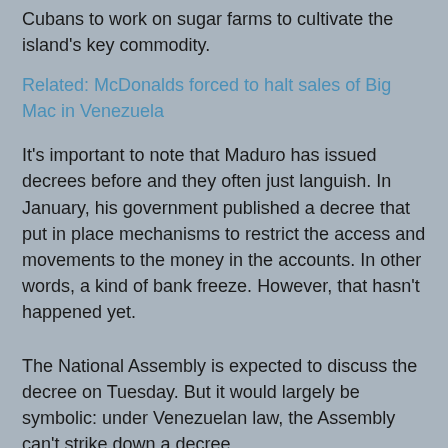Cubans to work on sugar farms to cultivate the island's key commodity.
Related: McDonalds forced to halt sales of Big Mac in Venezuela
It's important to note that Maduro has issued decrees before and they often just languish. In January, his government published a decree that put in place mechanisms to restrict the access and movements to the money in the accounts. In other words, a kind of bank freeze. However, that hasn't happened yet.
The National Assembly is expected to discuss the decree on Tuesday. But it would largely be symbolic: under Venezuelan law, the Assembly can't strike down a decree.
This latest action by Maduro may also be a sign that at least one other leader may be calling the shots on this issue. Earlier in July, Maduro appointed one of the country's defense ministers, Vladimir Padrino, as the leader of a team